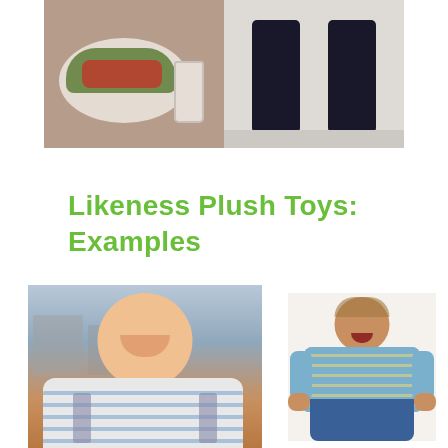[Figure (photo): Two photos side by side at top: left shows a plate of food (crab/seafood with greens) and a milk bottle on a table; right shows a pair of dark dress shoes/boots on a light floor]
Likeness Plush Toys: Examples
[Figure (photo): Two photos side by side at bottom: left shows a laughing baby/toddler in a striped shirt sitting in a stroller on a street; right shows a plush toy doll resembling the baby, wearing a blue striped jacket and blue pants]